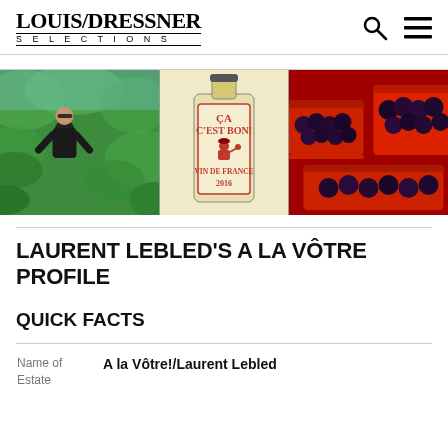LOUIS/DRESSNER SELECTIONS
[Figure (photo): Three-panel hero image: left panel shows a man in a vineyard with green foliage; center panel shows a wine bottle label reading 'ÇA C'EST BON! VIN DE FRANCE 2016'; right panel shows crates of dark grapes at harvest.]
LAURENT LEBLED'S A LA VÔTRE PROFILE
QUICK FACTS
|  |  |
| --- | --- |
| Name of Estate | A la Vôtre!/Laurent Lebled |